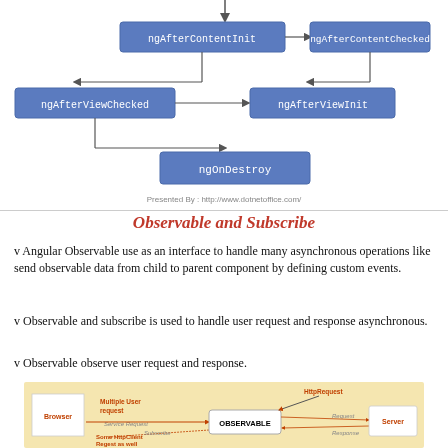[Figure (flowchart): Angular component lifecycle flowchart showing ngAfterContentInit, ngAfterContentChecked, ngAfterViewChecked, ngAfterViewInit, and ngOnDestroy nodes with arrows. Footer: Presented By: http://www.dotnetoffice.com/]
Observable and Subscribe
v Angular Observable use as an interface to handle many asynchronous operations like send observable data from child to parent component by defining custom events.
v Observable and subscribe is used to handle user request and response asynchronous.
v Observable observe user request and response.
[Figure (flowchart): Observable and Subscribe diagram showing Browser, Multiple User request, Service Request, Some HttpClient Regest as well, Observable box, HttpRequest, Request, Response, Subscribe, and Server components on a tan/beige background.]